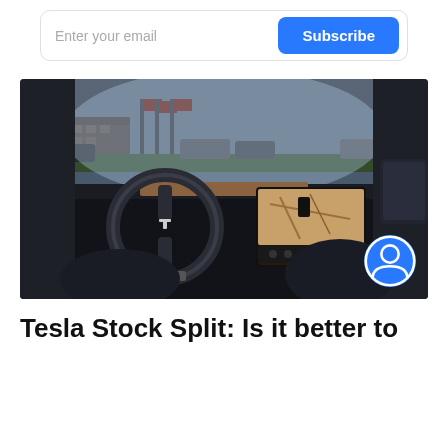[Figure (other): Email subscription bar with 'Enter your email' placeholder text and a blue 'Subscribe' button]
[Figure (photo): Interior view of a Tesla car showing the dashboard, steering wheel with Tesla logo, large center touchscreen displaying a map, and through the windshield a parking lot with red flags and buildings visible]
Tesla Stock Split: Is it better to